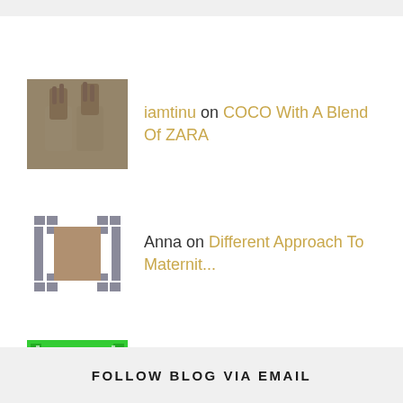iamtinu on COCO With A Blend Of ZARA
Anna on Different Approach To Maternit...
Ruzanna on ...
Creativien on COCO With A Blend Of ZARA
Anna on COCO With A Blend Of ZARA
FOLLOW BLOG VIA EMAIL